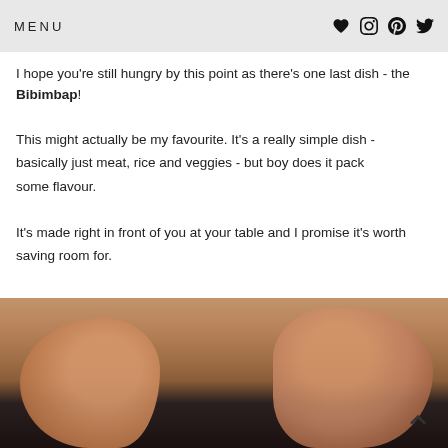MENU
I hope you're still hungry by this point as there's one last dish - the Bibimbap!
This might actually be my favourite. It's a really simple dish - basically just meat, rice and veggies - but boy does it pack some flavour.
It's made right in front of you at your table and I promise it's worth saving room for.
[Figure (photo): Close-up photo of hands preparing or handling food, with dark background, warm skin tones visible]